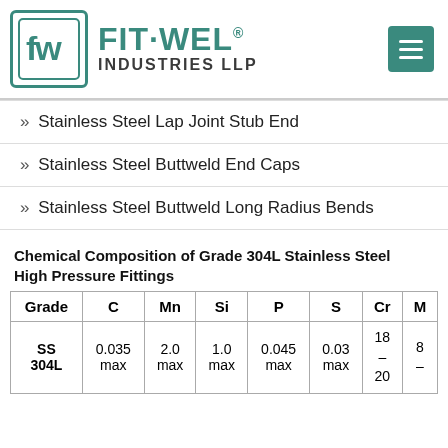[Figure (logo): Fit-Wel Industries LLP logo with teal/green color scheme, square logo mark with 'fw' initials and brand name]
» Stainless Steel Lap Joint Stub End
» Stainless Steel Buttweld End Caps
» Stainless Steel Buttweld Long Radius Bends
Chemical Composition of Grade 304L Stainless Steel High Pressure Fittings
| Grade | C | Mn | Si | P | S | Cr | M... |
| --- | --- | --- | --- | --- | --- | --- | --- |
| SS 304L | 0.035 max | 2.0 max | 1.0 max | 0.045 max | 0.03 max | 18 – 20 | 8 – |